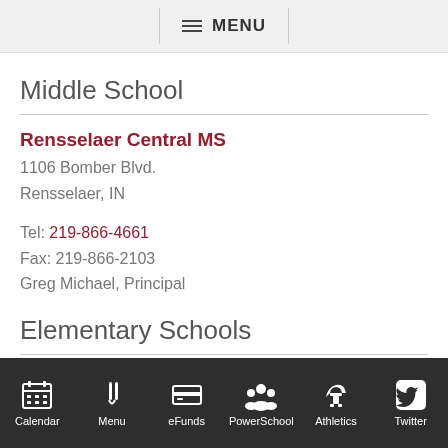MENU
Middle School
Rensselaer Central MS
1106 Bomber Blvd.
Rensselaer, IN
Tel: 219-866-4661
Fax: 219-866-2103
Greg Michael, Principal
Elementary Schools
Van Rensselaer Elementary
Calendar  Menu  eFunds  PowerSchool  Athletics  Twitter